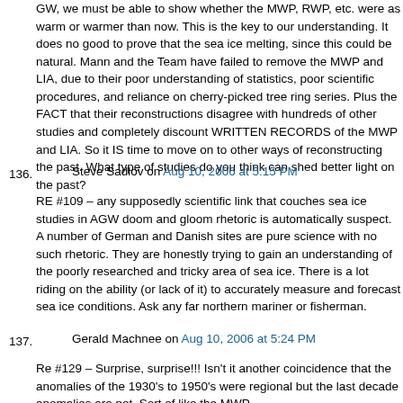GW, we must be able to show whether the MWP, RWP, etc. were as warm or warmer than now. This is the key to our understanding. It does no good to prove that the sea ice melting, since this could be natural. Mann and the Team have failed to remove the MWP and LIA, due to their poor understanding of statistics, poor scientific procedures, and reliance on cherry-picked tree ring series. Plus the FACT that their reconstructions disagree with hundreds of other studies and completely discount WRITTEN RECORDS of the MWP and LIA. So it IS time to move on to other ways of reconstructing the past. What type of studies do you think can shed better light on the past?
136.   Steve Sadlov on Aug 10, 2006 at 5:15 PM
RE #109 – any supposedly scientific link that couches sea ice studies in AGW doom and gloom rhetoric is automatically suspect. A number of German and Danish sites are pure science with no such rhetoric. They are honestly trying to gain an understanding of the poorly researched and tricky area of sea ice. There is a lot riding on the ability (or lack of it) to accurately measure and forecast sea ice conditions. Ask any far northern mariner or fisherman.
137.   Gerald Machnee on Aug 10, 2006 at 5:24 PM
Re #129 – Surprise, surprise!!! Isn't it another coincidence that the anomalies of the 1930's to 1950's were regional but the last decade anomalies are not. Sort of like the MWP